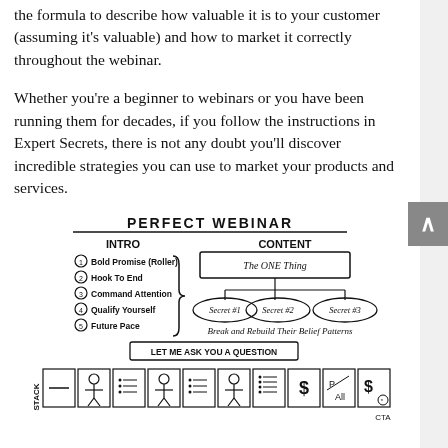the formula to describe how valuable it is to your customer (assuming it's valuable) and how to market it correctly throughout the webinar.
Whether you're a beginner to webinars or you have been running them for decades, if you follow the instructions in Expert Secrets, there is not any doubt you'll discover incredible strategies you can use to market your products and services.
[Figure (infographic): Perfect Webinar diagram showing INTRO section with 5 steps (Bold Promise (Roller), Hook To End, Command Attention, Qualify Yourself, Future Pace) and CONTENT section with The ONE Thing box branching to Secret #1, Secret #2, Secret #3 ovals, labeled Break and Rebuild Their Belief Patterns. Below is a LET ME ASK YOU A QUESTION box and a STACK row with icons. CTA label at bottom right.]